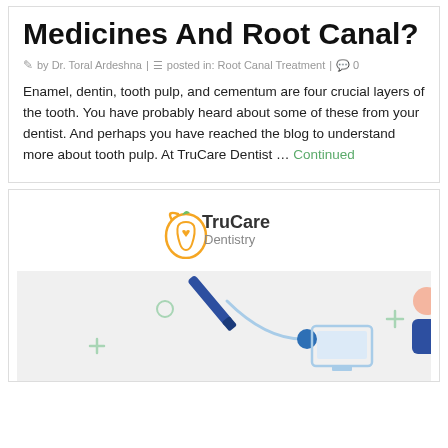Medicines And Root Canal?
by Dr. Toral Ardeshna | posted in: Root Canal Treatment | 0
Enamel, dentin, tooth pulp, and cementum are four crucial layers of the tooth. You have probably heard about some of these from your dentist. And perhaps you have reached the blog to understand more about tooth pulp. At TruCare Dentist … Continued
[Figure (logo): TruCare Dentistry logo with apple and tooth icon]
[Figure (illustration): Medical/dental illustration showing a person at a computer with medical cross symbols and geometric shapes on a light grey background]